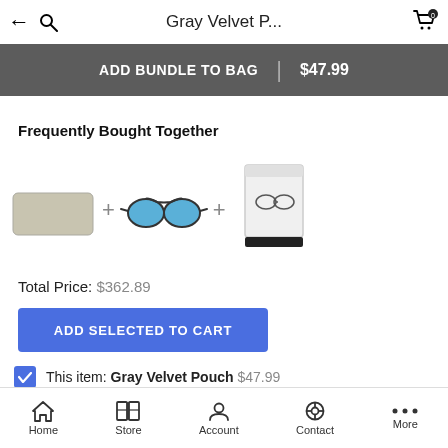Gray Velvet P...
ADD BUNDLE TO BAG | $47.99
Frequently Bought Together
[Figure (photo): Three product images side by side with plus signs: a gray velvet pouch, a pair of blue-lens sunglasses, and a white eyewear case with accessories]
Total Price: $362.89
ADD SELECTED TO CART
This item: Gray Velvet Pouch $47.99
Home  Store  Account  Contact  More